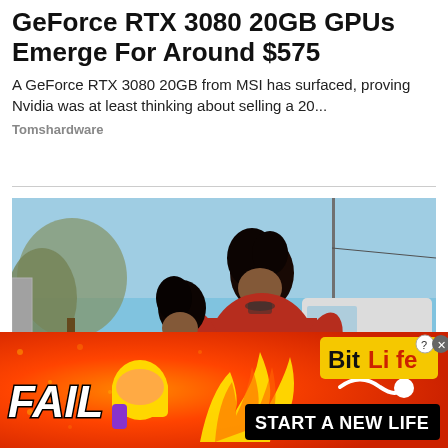GeForce RTX 3080 20GB GPUs Emerge For Around $575
A GeForce RTX 3080 20GB from MSI has surfaced, proving Nvidia was at least thinking about selling a 20...
Tomshardware
[Figure (photo): Photo of two people smiling outdoors, both wearing red shirts, with trees and a vehicle in the background]
[Figure (other): Advertisement banner for BitLife mobile game with orange/red fire background, 'FAIL' text on left, BitLife logo and 'START A NEW LIFE' banner on right]